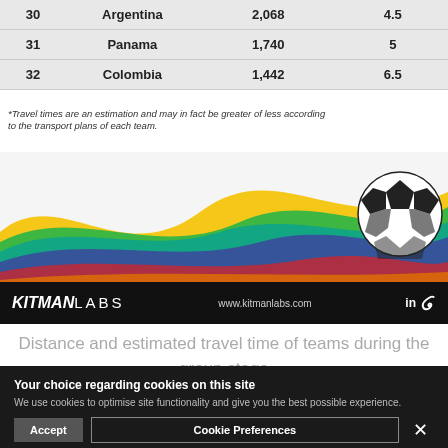|  | Country | Distance (km) | Travel Time (hrs) |
| --- | --- | --- | --- |
| 30 | Argentina | 2,068 | 4.5 |
| 31 | Panama | 1,740 | 5 |
| 32 | Colombia | 1,442 | 6.5 |
*Travel times are an estimation and may in fact be greater of less according to the transport plans of each team.
[Figure (illustration): Colorful wave decorative banner with a soccer ball on the right side]
KITMAN LABS   www.kitmanlabs.com
Distance and estimated travel time of teams during the group stage of the world cup
Your choice regarding cookies on this site
We use cookies to optimise site functionality and give you the best possible experience.